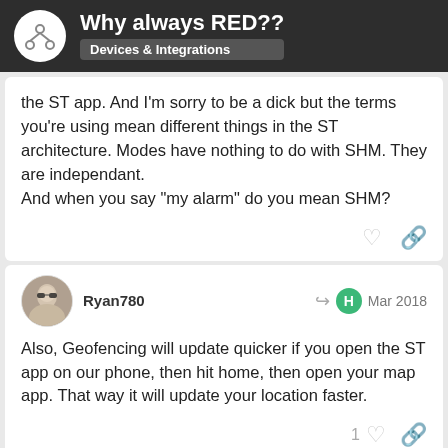Why always RED?? Devices & Integrations
the ST app. And I'm sorry to be a dick but the terms you're using mean different things in the ST architecture. Modes have nothing to do with SHM. They are independant.
And when you say "my alarm" do you mean SHM?
Ryan780  Mar 2018
Also, Geofencing will update quicker if you open the ST app on our phone, then hit home, then open your map app. That way it will update your location faster.
1
hometech  33 / 52